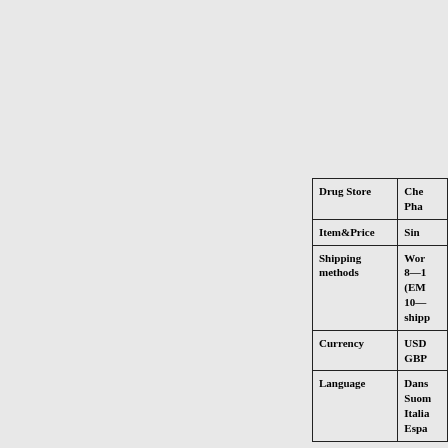|  |  |
| --- | --- |
| Drug Store | Chem
Phar |
| Item&Price | Sing |
| Shipping
methods | Wor
8—1
(EM
10—
shipp |
| Currency | USD
GBP |
| Language | Dans
Suom
Italia
Espa |